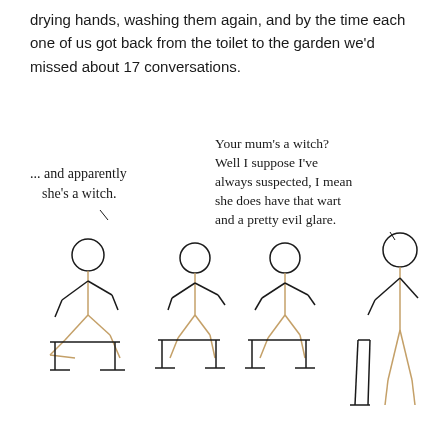drying hands, washing them again, and by the time each one of us got back from the toilet to the garden we'd missed about 17 conversations.
[Figure (illustration): Comic illustration with handwritten text bubbles and four stick figures sitting on chairs. Left speech bubble says '... and apparently she's a witch.' Right speech bubble says 'Your mum's a witch? Well I suppose I've always suspected, I mean she does have that wart and a pretty evil glare.' Four stick figures are drawn in a simple pen style, seated on chairs, with the rightmost figure standing.]